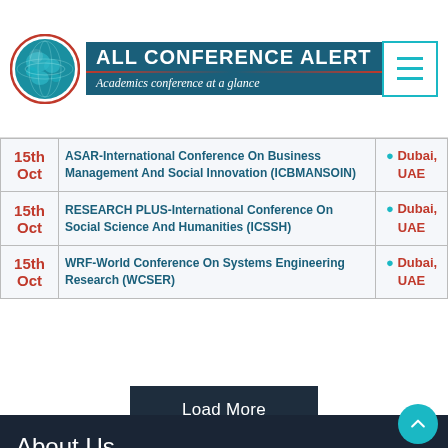[Figure (logo): All Conference Alert logo with globe icon and tagline 'Academics conference at a glance']
| Date | Conference Name | Location |
| --- | --- | --- |
| 15th Oct | ASAR-International Conference On Business Management And Social Innovation (ICBMANSOIN) | Dubai, UAE |
| 15th Oct | RESEARCH PLUS-International Conference On Social Science And Humanities (ICSSH) | Dubai, UAE |
| 15th Oct | WRF-World Conference On Systems Engineering Research (WCSER) | Dubai, UAE |
Load More
About Us